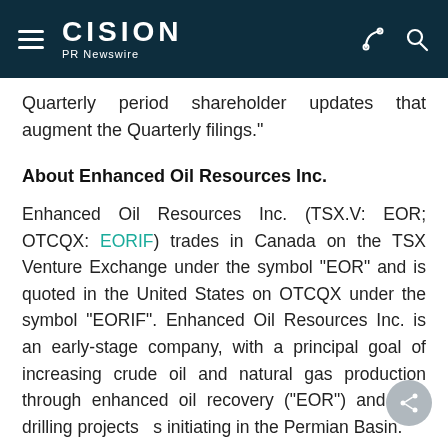CISION PR Newswire
Quarterly period shareholder updates that augment the Quarterly filings."
About Enhanced Oil Resources Inc.
Enhanced Oil Resources Inc. (TSX.V: EOR; OTCQX: EORIF) trades in Canada on the TSX Venture Exchange under the symbol "EOR" and is quoted in the United States on OTCQX under the symbol "EORIF". Enhanced Oil Resources Inc. is an early-stage company, with a principal goal of increasing crude oil and natural gas production through enhanced oil recovery ("EOR") and infill drilling projects initiating in the Permian Basin.